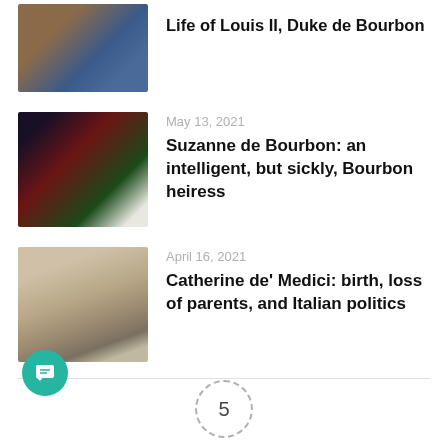[Figure (photo): Portrait painting of a person in blue garment with gold pattern against decorative background]
Life of Louis II, Duke de Bourbon
[Figure (photo): Stained glass artwork showing figures in red and green tones]
May 13, 2021
Suzanne de Bourbon: an intelligent, but sickly, Bourbon heiress
[Figure (photo): Interior of a grand classical building with columns, ornate floor, and a central fountain or sculpture]
April 16, 2021
Catherine de' Medici: birth, loss of parents, and Italian politics
5